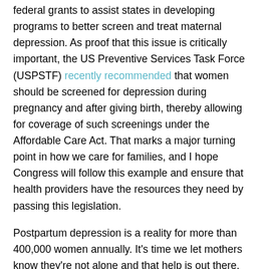federal grants to assist states in developing programs to better screen and treat maternal depression. As proof that this issue is critically important, the US Preventive Services Task Force (USPSTF) recently recommended that women should be screened for depression during pregnancy and after giving birth, thereby allowing for coverage of such screenings under the Affordable Care Act. That marks a major turning point in how we care for families, and I hope Congress will follow this example and ensure that health providers have the resources they need by passing this legislation.
Postpartum depression is a reality for more than 400,000 women annually. It's time we let mothers know they're not alone and that help is out there.  Let's bring postpartum depression out of the shadows.